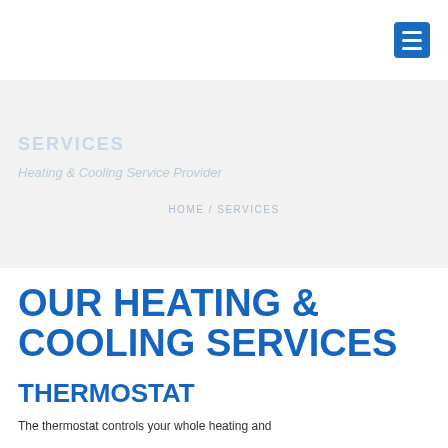≡
SERVICES
Heating & Cooling Service Provider
HOME / SERVICES
OUR HEATING & COOLING SERVICES
THERMOSTAT
The thermostat controls your whole heating and